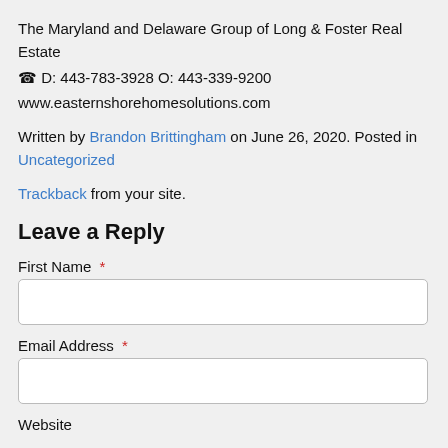The Maryland and Delaware Group of Long & Foster Real Estate
☎ D: 443-783-3928 O: 443-339-9200
www.easternshorehomesolutions.com
Written by Brandon Brittingham on June 26, 2020. Posted in Uncategorized
Trackback from your site.
Leave a Reply
First Name *
Email Address *
Website